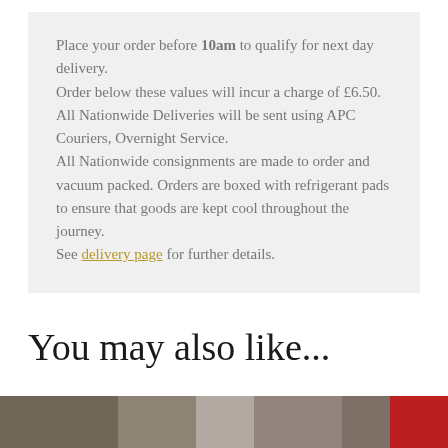Place your order before 10am to qualify for next day delivery.
Order below these values will incur a charge of £6.50.
All Nationwide Deliveries will be sent using APC Couriers, Overnight Service.
All Nationwide consignments are made to order and vacuum packed. Orders are boxed with refrigerant pads to ensure that goods are kept cool throughout the journey.
See delivery page for further details.
You may also like...
[Figure (photo): Product image strip at the bottom of the page]